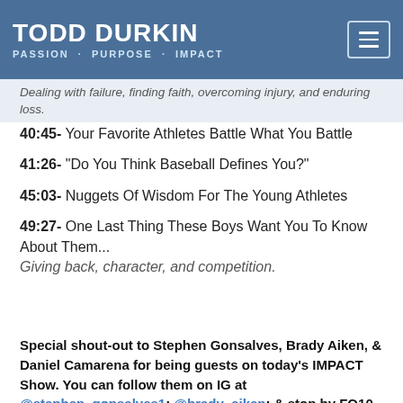TODD DURKIN
PASSION · PURPOSE · IMPACT
Dealing with failure, finding faith, overcoming injury, and enduring loss.
40:45- Your Favorite Athletes Battle What You Battle
41:26- "Do You Think Baseball Defines You?"
45:03- Nuggets Of Wisdom For The Young Athletes
49:27- One Last Thing These Boys Want You To Know About Them...
Giving back, character, and competition.
Special shout-out to Stephen Gonsalves, Brady Aiken, & Daniel Camarena for being guests on today's IMPACT Show. You can follow them on IG at @stephen_gonsalves1; @brady_aiken; & stop by FQ10 to meet Daniel.